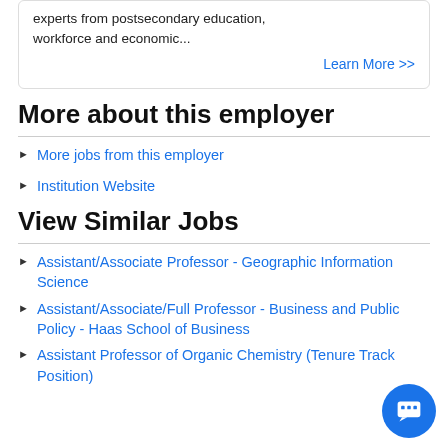experts from postsecondary education, workforce and economic...
Learn More >>
More about this employer
More jobs from this employer
Institution Website
View Similar Jobs
Assistant/Associate Professor - Geographic Information Science
Assistant/Associate/Full Professor - Business and Public Policy - Haas School of Business
Assistant Professor of Organic Chemistry (Tenure Track Position)